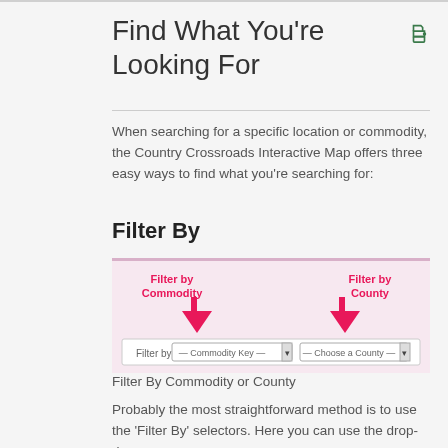Find What You're Looking For
When searching for a specific location or commodity, the Country Crossroads Interactive Map offers three easy ways to find what you're searching for:
Filter By
[Figure (screenshot): Screenshot of a filter bar with two dropdown selectors: 'Commodity Key' and 'Choose a County', with annotated arrows labeled 'Filter by Commodity' and 'Filter by County' in bold pink text.]
Filter By Commodity or County
Probably the most straightforward method is to use the 'Filter By' selectors. Here you can use the drop-down